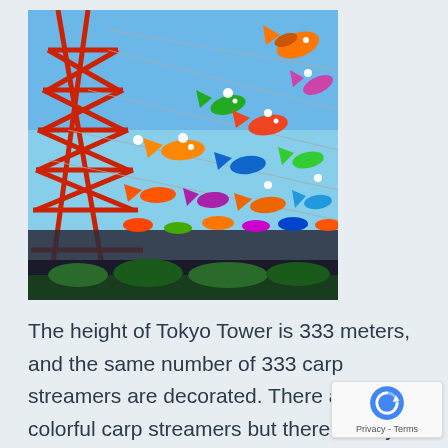[Figure (photo): Photo of colorful koinobori (carp streamers) hanging in front of Tokyo Tower structure under a clear blue sky. The tower's red lattice structure is visible on the left, with many colorful fish-shaped streamers (orange, green, red, blue, multicolor) hanging from lines strung across the frame.]
The height of Tokyo Tower is 333 meters, and the same number of 333 carp streamers are decorated. There are colorful carp streamers but there is only one Sanma or saury, which means that a yell and message for people who were affected by the Great Japan Earthqu...